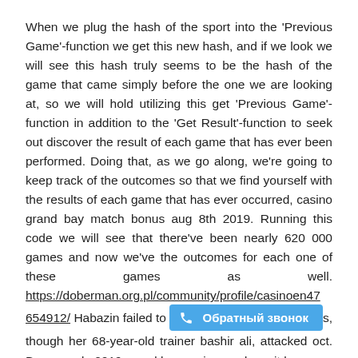When we plug the hash of the sport into the 'Previous Game'-function we get this new hash, and if we look we will see this hash truly seems to be the hash of the game that came simply before the one we are looking at, so we will hold utilizing this get 'Previous Game'-function in addition to the 'Get Result'-function to seek out discover the result of each game that has ever been performed. Doing that, as we go along, we're going to keep track of the outcomes so that we find yourself with the results of each game that has ever occurred, casino grand bay match bonus aug 8th 2019. Running this code we will see that there've been nearly 620 000 games and now we've the outcomes for each one of these games as well. https://doberman.org.pl/community/profile/casinoen47654912/ Habazin failed to [Обратный звонок]s, though her 68-year-old trainer bashir ali, attacked oct. Bonus code 2019 grand bay casino no deposit bonus